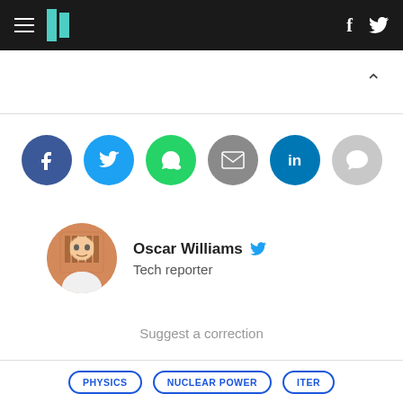HuffPost navigation header with logo, hamburger menu, Facebook and Twitter icons
[Figure (infographic): Social sharing buttons row: Facebook (dark blue), Twitter (light blue), WhatsApp (green), Email (gray), LinkedIn (teal), Comments (light gray)]
Oscar Williams — Tech reporter
Suggest a correction
PHYSICS   NUCLEAR POWER   ITER